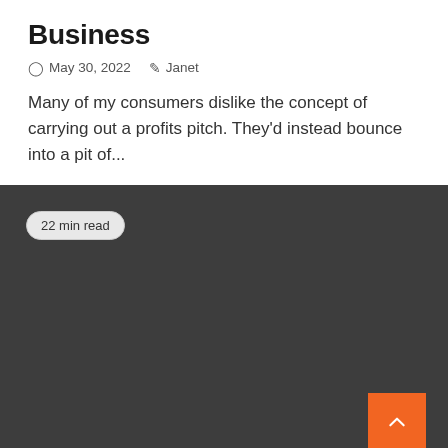Business
May 30, 2022   Janet
Many of my consumers dislike the concept of carrying out a profits pitch. They'd instead bounce into a pit of...
[Figure (screenshot): Dark gray content block with '22 min read' badge in top left and orange back-to-top arrow button in bottom right]